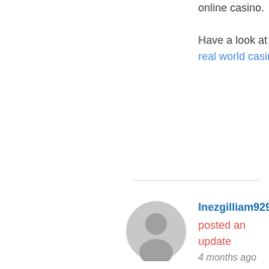online casino. Have a look at my page real world casinos
[Figure (illustration): Generic user avatar circle with person silhouette in gray]
Inezgilliam929 posted an update 4 months ago However, can you get this same service online slot? Different sites